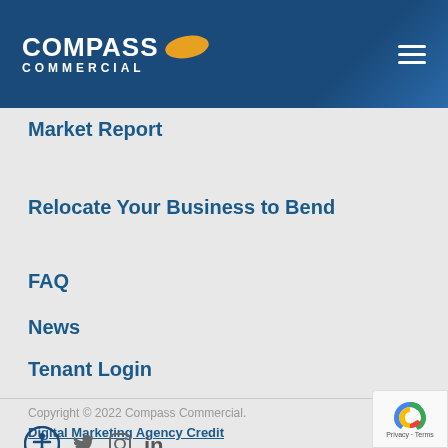COMPASS COMMERCIAL
Market Report
Relocate Your Business to Bend
FAQ
News
Tenant Login
Copyright © 2022 Compass Commercial. Digital Marketing Agency Credit